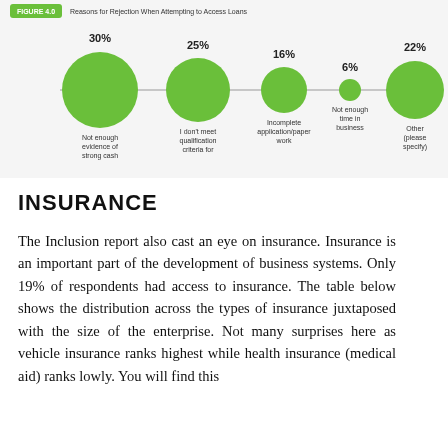[Figure (bubble-chart): Reasons for Rejection When Attempting to Access Loans]
INSURANCE
The Inclusion report also cast an eye on insurance. Insurance is an important part of the development of business systems. Only 19% of respondents had access to insurance. The table below shows the distribution across the types of insurance juxtaposed with the size of the enterprise. Not many surprises here as vehicle insurance ranks highest while health insurance (medical aid) ranks lowly. You will find this